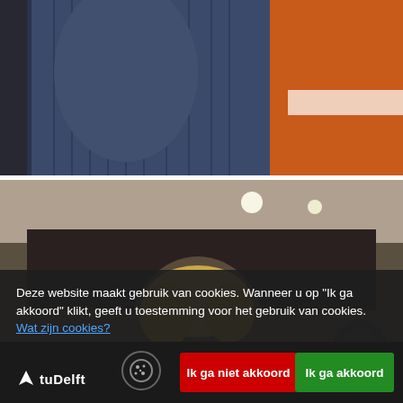[Figure (photo): Close-up photo of a person wearing a dark blue ribbed top/garment, with an orange and white background fabric or flag visible]
[Figure (photo): Photo of a person with blonde/light brown hair, partially visible, in a room with ceiling lights and dark wall]
Deze website maakt gebruik van cookies. Wanneer u op "Ik ga akkoord" klikt, geeft u toestemming voor het gebruik van cookies. Wat zijn cookies?
TUDelft  |  [cookie icon]  |  Ik ga niet akkoord  |  Ik ga akkoord